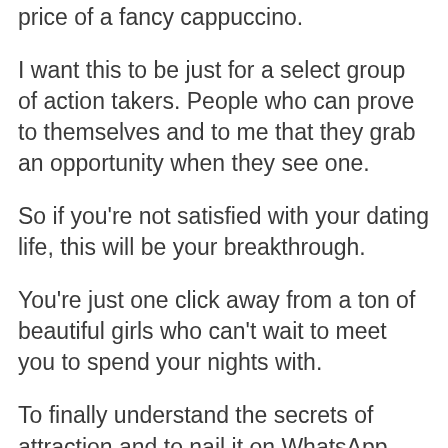I'm giving away my biggest secret for just the price of a fancy cappuccino.
I want this to be just for a select group of action takers. People who can prove to themselves and to me that they grab an opportunity when they see one.
So if you're not satisfied with your dating life, this will be your breakthrough.
You're just one click away from a ton of beautiful girls who can't wait to meet you to spend your nights with.
To finally understand the secrets of attraction and to nail it on WhatsApp, Tinder and all your favorite dating apps.